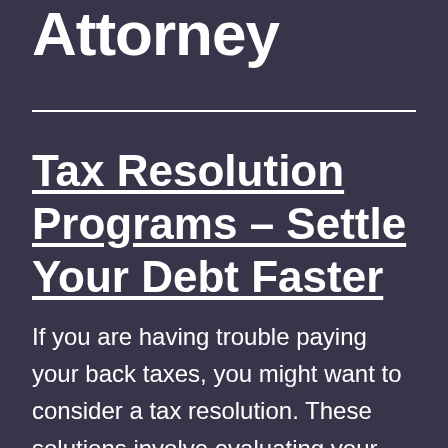Attorney
Tax Resolution Programs – Settle Your Debt Faster
If you are having trouble paying your back taxes, you might want to consider a tax resolution. These solutions involve evaluating your returns to determine how much you owe and working with the IRS to find a payment